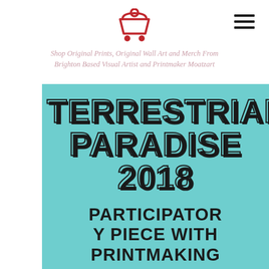[Figure (logo): Red shopping cart icon with a circle (0) at top, cart shape and wheels, centered at top of page]
[Figure (other): Hamburger menu icon (three horizontal lines) in black, top right corner]
Shop Original Prints, Original Wall Art and Merch From Brighton Based Visual Artist and Printmaker Moatzart
TERRESTRIAL PARADISE 2018
PARTICIPATORY PIECE WITH PRINTMAKING